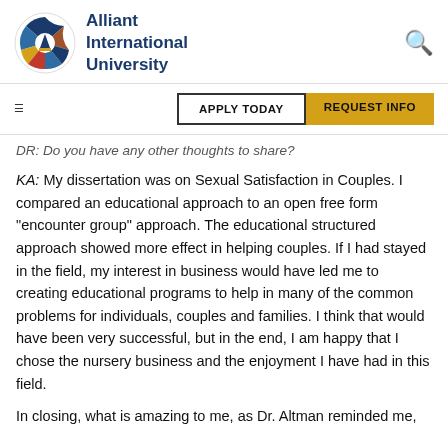Alliant International University
DR: Do you have any other thoughts to share?
KA: My dissertation was on Sexual Satisfaction in Couples. I compared an educational approach to an open free form "encounter group" approach. The educational structured approach showed more effect in helping couples. If I had stayed in the field, my interest in business would have led me to creating educational programs to help in many of the common problems for individuals, couples and families. I think that would have been very successful, but in the end, I am happy that I chose the nursery business and the enjoyment I have had in this field.
In closing, what is amazing to me, as Dr. Altman reminded me,